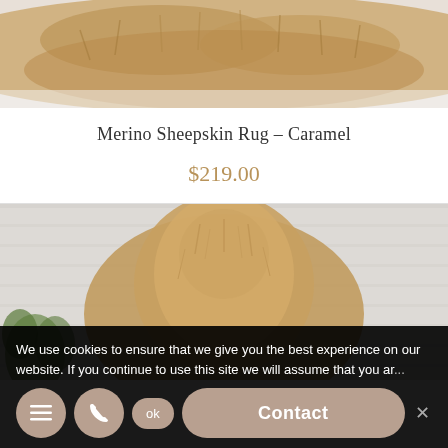[Figure (photo): Top portion of a caramel/tan fluffy Merino sheepskin rug on a light surface, cropped view showing the fur texture]
Merino Sheepskin Rug – Caramel
$219.00
[Figure (photo): Caramel/tan fluffy Merino sheepskin rug displayed against a light grey wood-panel wall, with a green plant visible at lower left]
We use cookies to ensure that we give you the best experience on our website. If you continue to use this site we will assume that you are happy with it.
Contact